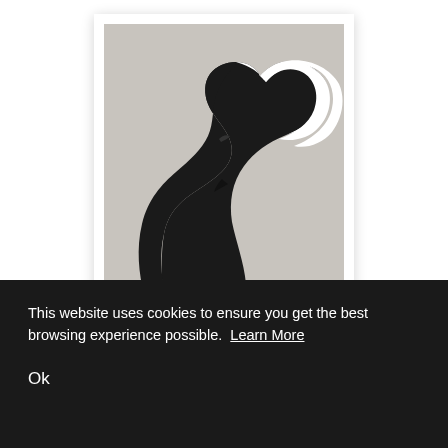[Figure (illustration): A framed art print showing a minimalist silhouette of a woman's profile wearing a wide-brimmed hat. The design is black and white against a light grey background. The woman's face and hair are black, and the hat brim has a white section. The image is displayed in a white frame.]
This website uses cookies to ensure you get the best browsing experience possible. Learn More
Ok